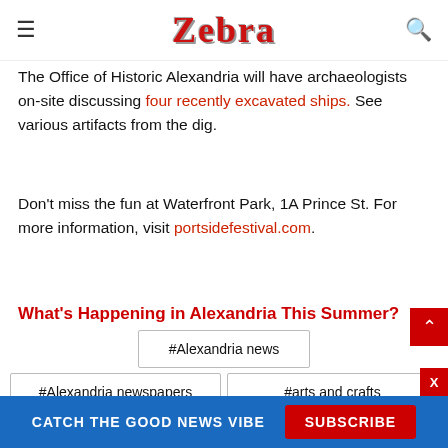Zebra
The Office of Historic Alexandria will have archaeologists on-site discussing four recently excavated ships. See various artifacts from the dig.
Don't miss the fun at Waterfront Park, 1A Prince St. For more information, visit portsidefestival.com.
What's Happening in Alexandria This Summer?
#Alexandria news
#Alexandria newspapers
#arts and crafts
CATCH THE GOOD NEWS VIBE  SUBSCRIBE